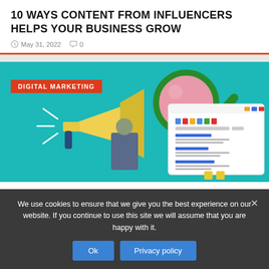10 WAYS CONTENT FROM INFLUENCERS HELPS YOUR BUSINESS GROW
May 31, 2022   0
[Figure (illustration): Digital marketing illustration on teal background showing a megaphone, magnifying glass, and a Google search results page mockup. Overlaid red badge reading DIGITAL MARKETING.]
We use cookies to ensure that we give you the best experience on our website. If you continue to use this site we will assume that you are happy with it.
Ok   Privacy policy